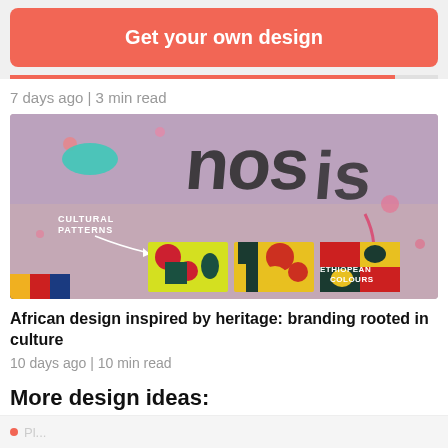Get your own design
7 days ago | 3 min read
[Figure (photo): Article thumbnail showing colorful African-inspired geometric pattern tiles labeled 'Cultural Patterns' and 'Ethiopian Colours' overlaid on a graffiti wall background]
African design inspired by heritage: branding rooted in culture
10 days ago | 10 min read
More design ideas: